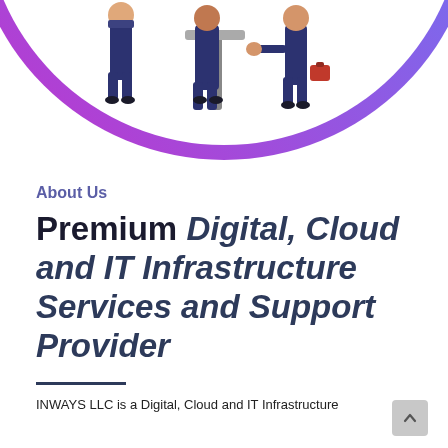[Figure (illustration): Illustration of business people figures inside a circular gradient border (blue to purple), cropped at the top of the page, showing only the lower halves of figures standing around a table.]
About Us
Premium Digital, Cloud and IT Infrastructure Services and Support Provider
INWAYS LLC is a Digital, Cloud and IT Infrastructure